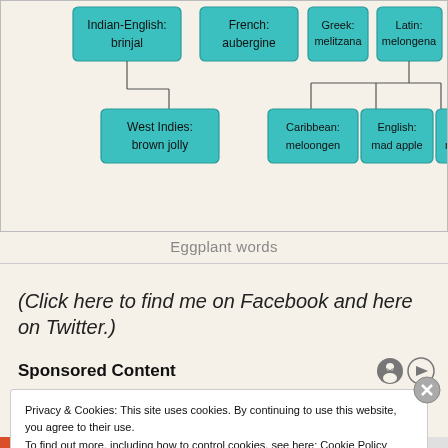[Figure (flowchart): Tree diagram showing eggplant words in different languages: Indian-English: brinjal, French: aubergine, Greek: melitzana, Latin: melongena (top row). West Indies: brown jolly (child of Indian-English brinjal), Caribbean: meloongen, English: mad apple, Italian: melanzana (children of Latin melongena).]
Eggplant words
(Click here to find me on Facebook and here on Twitter.)
Sponsored Content
Privacy & Cookies: This site uses cookies. By continuing to use this website, you agree to their use.
To find out more, including how to control cookies, see here: Cookie Policy